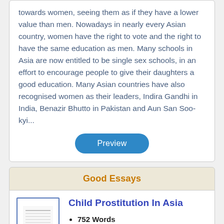towards women, seeing them as if they have a lower value than men. Nowadays in nearly every Asian country, women have the right to vote and the right to have the same education as men. Many schools in Asia are now entitled to be single sex schools, in an effort to encourage people to give their daughters a good education. Many Asian countries have also recognised women as their leaders, Indira Gandhi in India, Benazir Bhutto in Pakistan and Aun San Soo-kyi...
Preview
Good Essays
[Figure (illustration): Thumbnail preview of a document page with small text lines]
Child Prostitution In Asia
752 Words